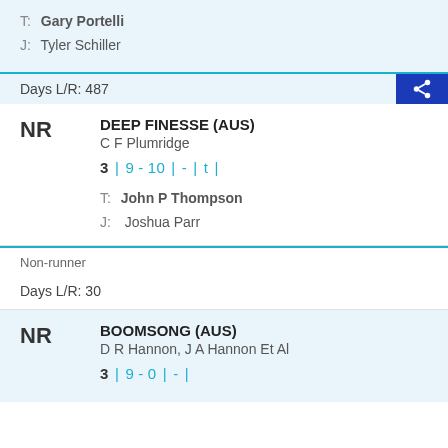T: Gary Portelli
J: Tyler Schiller
Days L/R: 487
NR   DEEP FINESSE (AUS)
C F Plumridge
3 | 9 - 10 | - | t |
T: John P Thompson
J: Joshua Parr
Non-runner
Days L/R: 30
NR   BOOMSONG (AUS)
D R Hannon, J A Hannon Et Al
3 | 9 - 0 | - |